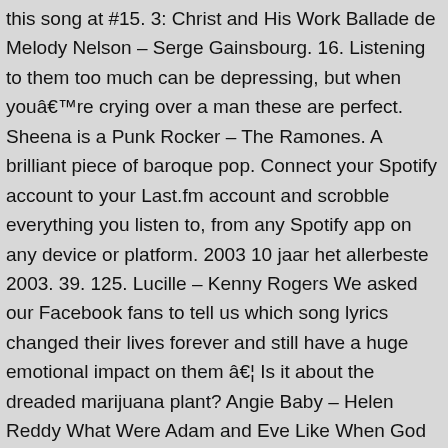this song at #15. 3: Christ and His Work Ballade de Melody Nelson – Serge Gainsbourg. 16. Listening to them too much can be depressing, but when youâre crying over a man these are perfect. Sheena is a Punk Rocker – The Ramones. A brilliant piece of baroque pop. Connect your Spotify account to your Last.fm account and scrobble everything you listen to, from any Spotify app on any device or platform. 2003 10 jaar het allerbeste 2003. 39. 125. Lucille – Kenny Rogers We asked our Facebook fans to tell us which song lyrics changed their lives forever and still have a huge emotional impact on them â¦ Is it about the dreaded marijuana plant? Angie Baby – Helen Reddy What Were Adam and Eve Like When God Made Them? Let us know what you think of the Last.fm website. 16. âI cannot believe, today, that the world almost ignored those people and what was happening. Â Now, let's go!.... Ruby (Don't Take Your Love to Town) – Kenny Rogers One of the most depressing songs on the list. Questions With Answers, Vol. Julie was the first Catwoman to TV's Batman. Creative Commons Attribution-ShareAlike License. What were